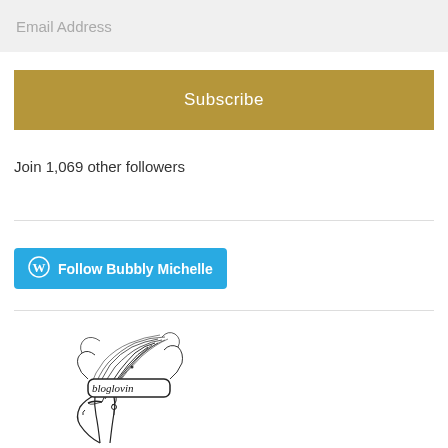Email Address
Subscribe
Join 1,069 other followers
Follow Bubbly Michelle
[Figure (illustration): Line drawing illustration of a stylized woman with an updo hairstyle wearing a headband with 'bloglovin' written on it, with a dangling earring, shown in profile view]